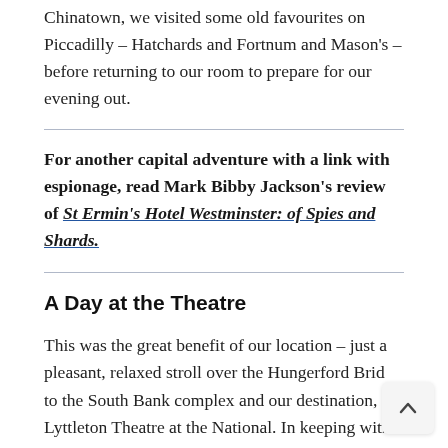Chinatown, we visited some old favourites on Piccadilly – Hatchards and Fortnum and Mason's – before returning to our room to prepare for our evening out.
For another capital adventure with a link with espionage, read Mark Bibby Jackson's review of St Ermin's Hotel Westminster: of Spies and Shards.
A Day at the Theatre
This was the great benefit of our location – just a pleasant, relaxed stroll over the Hungerford Bridge to the South Bank complex and our destination, Lyttleton Theatre at the National. In keeping with